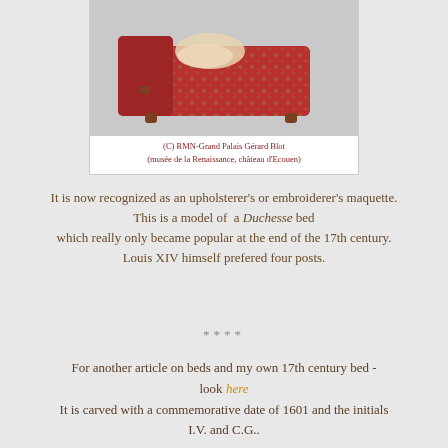[Figure (photo): A miniature model of a red floral-upholstered Duchesse bed with decorative fabric, viewed from above at an angle, against a grey background.]
(C) RMN-Grand Palais Gérard Blot (musée de la Renaissance, château d'Ecouen)
It is now recognized as an upholsterer's or embroiderer's maquette. This is a model of a Duchesse bed which really only became popular at the end of the 17th century. Louis XIV himself prefered four posts.
****
For another article on beds and my own 17th century bed - look here It is carved with a commemorative date of 1601 and the initials I.V. and C.G..